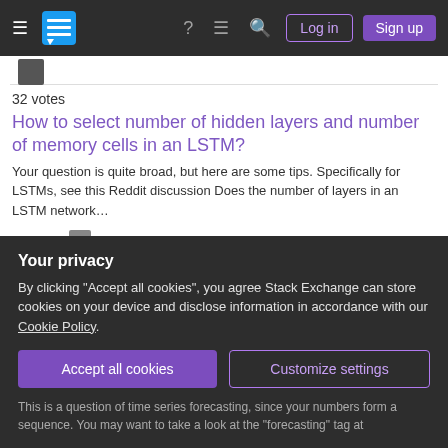Stack Exchange navigation bar with Log in and Sign up buttons
32 votes
How to select number of hidden layers and number of memory cells in an LSTM?
Your question is quite broad, but here are some tips. Specifically for LSTMs, see this Reddit discussion Does the number of layers in an LSTM network…
Thomas Wagenaar 1,137 answered Apr 14, 2017 at 15:55
15 votes  Accepted
How can Transformers handle arbitrary length input?
Actually, there is usually an upper bound for inputs of transformers, due to the
Your privacy
By clicking "Accept all cookies", you agree Stack Exchange can store cookies on your device and disclose information in accordance with our Cookie Policy.
This is a question of time series forecasting, since your numbers form a sequence. You may want to take a look at the "forecasting" tag at